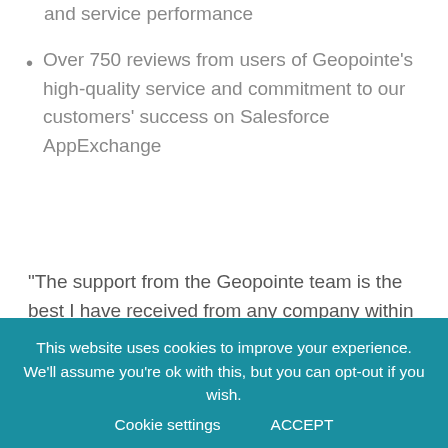and service performance
Over 750 reviews from users of Geopointe's high-quality service and commitment to our customers' success on Salesforce AppExchange
“The support from the Geopointe team is the best I have received from any company within any industry,” said Nancy Jacobs, a Geopointe user. “They roll up their sleeves when necessary and work directly with us and our users. They go beyond to ensure we have an excellent experience with
This website uses cookies to improve your experience. We’ll assume you’re ok with this, but you can opt-out if you wish. Cookie settings ACCEPT